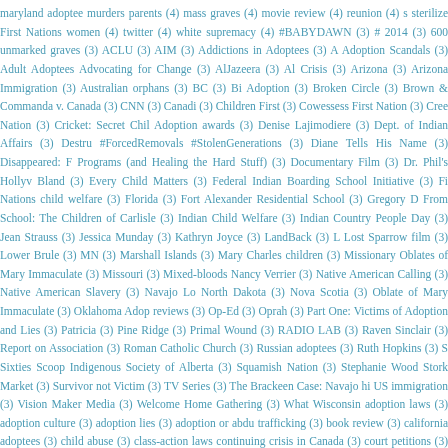maryland adoptee murders parents (4) mass graves (4) movie review (4) reunion (4) sterilize First Nations women (4) twitter (4) white supremacy (4) #BABYDAWN (3) # 2014 (3) 600 unmarked graves (3) ACLU (3) AIM (3) Addictions in Adoptees (3) A Adoption Scandals (3) Adult Adoptees Advocating for Change (3) AlJazeera (3) Al Crisis (3) Arizona (3) Arizona Immigration (3) Australian orphans (3) BC (3) Bi Adoption (3) Broken Circle (3) Brown & Commanda v. Canada (3) CNN (3) Canadi (3) Children First (3) Cowessess First Nation (3) Cree Nation (3) Cricket: Secret Chi Adoption awards (3) Denise Lajimodiere (3) Dept. of Indian Affairs (3) Destr #ForcedRemovals #StolenGenerations (3) Diane Tells His Name (3) Disappeared: F Programs (and Healing the Hard Stuff) (3) Documentary Film (3) Dr. Phil's Holly Bland (3) Every Child Matters (3) Federal Indian Boarding School Initiative (3) Fir Nations child welfare (3) Florida (3) Fort Alexander Residential School (3) Gregory D From School: The Children of Carlisle (3) Indian Child Welfare (3) Indian Country People Day (3) Jean Strauss (3) Jessica Munday (3) Kathryn Joyce (3) LandBack (3) L Lost Sparrow film (3) Lower Brule (3) MN (3) Marshall Islands (3) Mary Charles children (3) Missionary Oblates of Mary Immaculate (3) Missouri (3) Mixed-blood Nancy Verrier (3) Native American Calling (3) Native American Slavery (3) Navajo L North Dakota (3) Nova Scotia (3) Oblate of Mary Immaculate (3) Oklahoma Adop reviews (3) Op-Ed (3) Oprah (3) Part One: Victims of Adoption and Lies (3) Patricia (3) Pine Ridge (3) Primal Wound (3) RADIO LAB (3) Raven Sinclair (3) Report on Association (3) Roman Catholic Church (3) Russian adoptees (3) Ruth Hopkins (3) S Sixties Scoop Indigenous Society of Alberta (3) Squamish Nation (3) Stephanie Wood Stork Market (3) Survivor not Victim (3) TV Series (3) The Brackeen Case: Navajo hi US immigration (3) Vision Maker Media (3) Welcome Home Gathering (3) What Wisconsin adoption laws (3) adoption culture (3) adoption lies (3) adoption or abdu trafficking (3) book review (3) california adoptees (3) child abuse (3) class-action laws continuing crisis in Canada (3) court petitions (3) curriculum (3) decline in